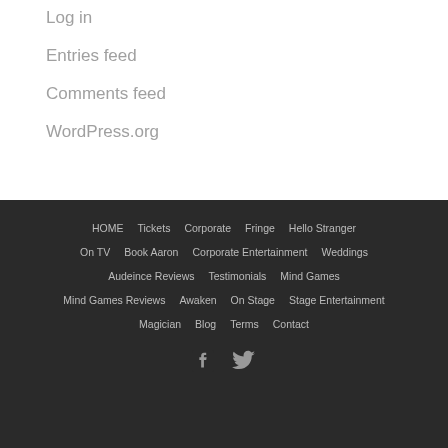Log in
Entries feed
Comments feed
WordPress.org
HOME | Tickets | Corporate | Fringe | Hello Stranger | On TV | Book Aaron | Corporate Entertainment | Weddings | Audeince Reviews | Testimonials | Mind Games | Mind Games Reviews | Awaken | On Stage | Stage Entertainment | Magician | Blog | Terms | Contact